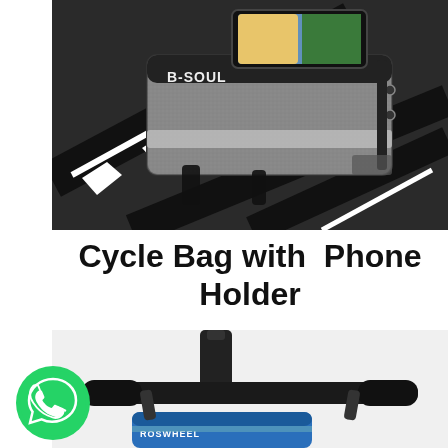[Figure (photo): Close-up photo of a grey B-SOUL bicycle frame bag with phone holder attached to a black bike frame. The bag has a reflective strip and zipper pockets.]
Cycle Bag with  Phone Holder
[Figure (photo): Partial photo of a bicycle handlebar area showing handlebars, stem, and what appears to be a blue cycle bag below. A green WhatsApp icon is overlaid in the lower left.]